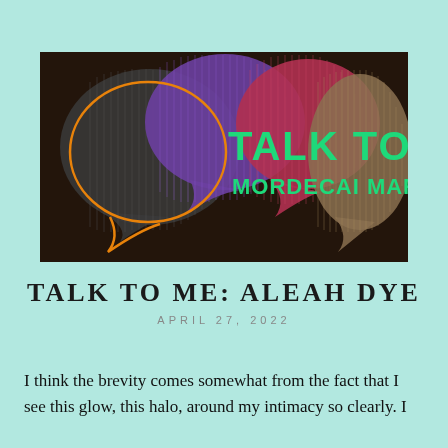[Figure (illustration): Banner image for 'Talk to Me' podcast by Mordecai Martin. Dark background with colorful speech bubble silhouettes in purple, red/pink, and tan/brown. An orange outlined speech bubble in the foreground. Green bold text reads 'TALK TO ME' with smaller green text 'MORDECAI MARTIN' below.]
TALK TO ME: ALEAH DYE
APRIL 27, 2022
I think the brevity comes somewhat from the fact that I see this glow, this halo, around my intimacy so clearly. I